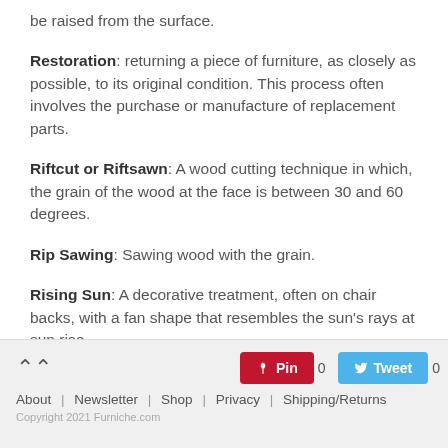be raised from the surface.
Restoration: returning a piece of furniture, as closely as possible, to its original condition. This process often involves the purchase or manufacture of replacement parts.
Riftcut or Riftsawn: A wood cutting technique in which, the grain of the wood at the face is between 30 and 60 degrees.
Rip Sawing: Sawing wood with the grain.
Rising Sun: A decorative treatment, often on chair backs, with a fan shape that resembles the sun’s rays at sun rise.
Rococo: A type of design that employs a profusion of
About | Newsletter | Shop | Privacy | Shipping/Returns
Copyright 2021 Furniche.com